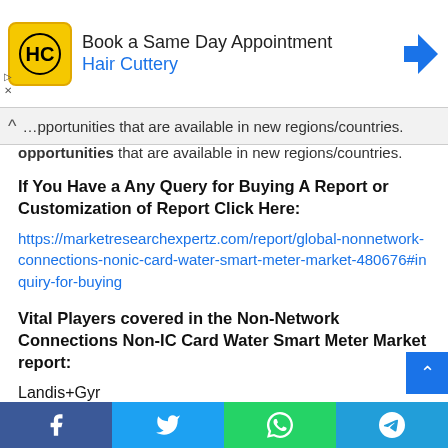[Figure (other): Hair Cuttery advertisement banner: Book a Same Day Appointment]
opportunities that are available in new regions/countries.
If You Have a Any Query for Buying A Report or Customization of Report Click Here:
https://marketresearchexpertz.com/report/global-nonnetwork-connections-nonic-card-water-smart-meter-market-480676#inquiry-for-buying
Vital Players covered in the Non-Network Connections Non-IC Card Water Smart Meter Market report:
Landis+Gyr
Itron